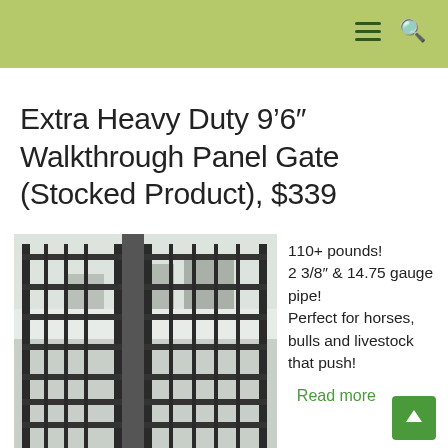Extra Heavy Duty 9’6″ Walkthrough Panel Gate (Stocked Product), $339
[Figure (photo): Photo of heavy duty metal panel gates stacked outdoors in a snowy yard, showing dark steel pipe construction with horizontal rails and vertical pickets.]
110+ pounds! 2 3/8″ & 14.75 gauge pipe! Perfect for horses, bulls and livestock that push!
Read more